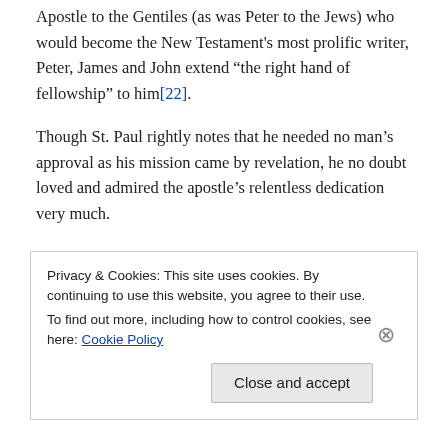Apostle to the Gentiles (as was Peter to the Jews) who would become the New Testament's most prolific writer, Peter, James and John extend “the right hand of fellowship” to him[22].
Though St. Paul rightly notes that he needed no man’s approval as his mission came by revelation, he no doubt loved and admired the apostle’s relentless dedication very much.
In Acts, Paul writes of Peter and John’s fierce devotion to preaching and healing the sick in the name of Jesus despite persecution by the high priests, that results in imprisonment and trial. As the story goes, an angel releases them from prison and
Privacy & Cookies: This site uses cookies. By continuing to use this website, you agree to their use.
To find out more, including how to control cookies, see here: Cookie Policy